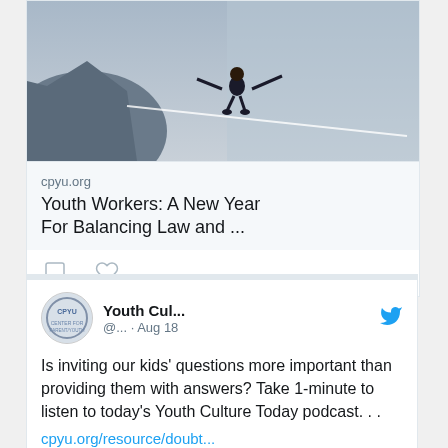[Figure (photo): Person walking on a tightrope/slackline between rocks outdoors]
cpyu.org
Youth Workers: A New Year For Balancing Law and ...
[Figure (other): Comment and heart action icons]
[Figure (logo): CPYU logo circular avatar]
Youth Cul...
@... · Aug 18
Is inviting our kids' questions more important than providing them with answers? Take 1-minute to listen to today's Youth Culture Today podcast. . .
cpyu.org/resource/doubt...